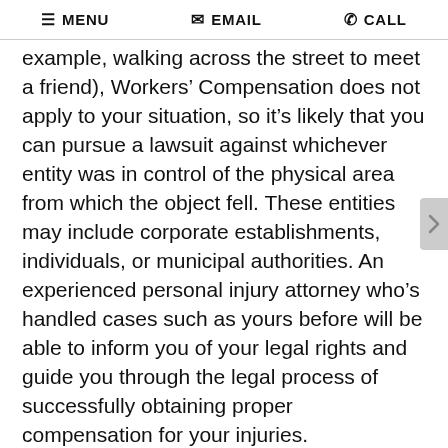MENU  EMAIL  CALL
example, walking across the street to meet a friend), Workers' Compensation does not apply to your situation, so it's likely that you can pursue a lawsuit against whichever entity was in control of the physical area from which the object fell. These entities may include corporate establishments, individuals, or municipal authorities. An experienced personal injury attorney who's handled cases such as yours before will be able to inform you of your legal rights and guide you through the legal process of successfully obtaining proper compensation for your injuries.